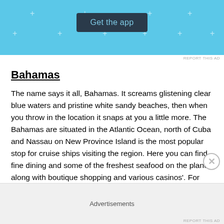[Figure (screenshot): Advertisement banner with light blue background showing 'Get the app' button and decorative plus signs]
Bahamas
The name says it all, Bahamas. It screams glistening clear blue waters and pristine white sandy beaches, then when you throw in the location it snaps at you a little more. The Bahamas are situated in the Atlantic Ocean, north of Cuba and Nassau on New Province Island is the most popular stop for cruise ships visiting the region. Here you can find fine dining and some of the freshest seafood on the planet along with boutique shopping and various casinos'. For something truly exotic the Bahamas has it all.
Advertisements